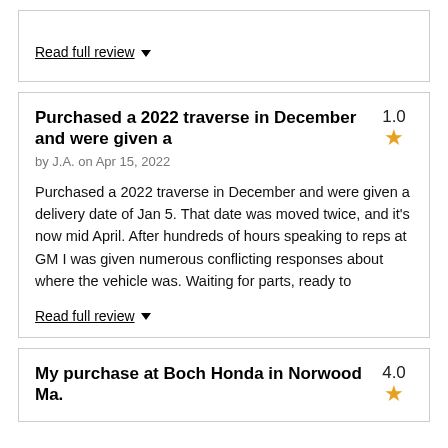Read full review ▼
Purchased a 2022 traverse in December and were given a  1.0
by J.A. on Apr 15, 2022
Purchased a 2022 traverse in December and were given a delivery date of Jan 5. That date was moved twice, and it's now mid April. After hundreds of hours speaking to reps at GM I was given numerous conflicting responses about where the vehicle was. Waiting for parts, ready to
Read full review ▼
My purchase at Boch Honda in Norwood Ma.  4.0